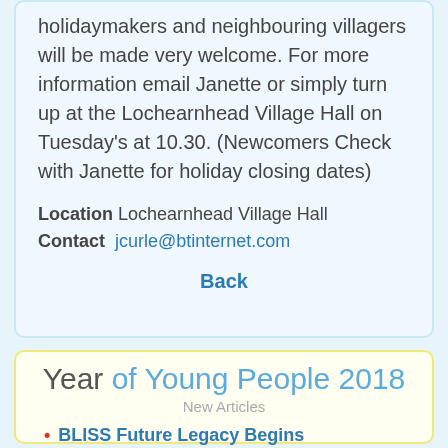holidaymakers and neighbouring villagers will be made very welcome. For more information email Janette or simply turn up at the Lochearnhead Village Hall on Tuesday's at 10.30.  (Newcomers Check with Janette for holiday closing dates)
Location  Lochearnhead Village Hall
Contact  jcurle@btinternet.com
Back
Year of Young People 2018
New Articles
BLISS Future Legacy Begins
Anna - Be All You Can Be
Eva, A Young Golfer With Drive
Kay's Winter Wonderland
School Girl Tell BLISS Stories